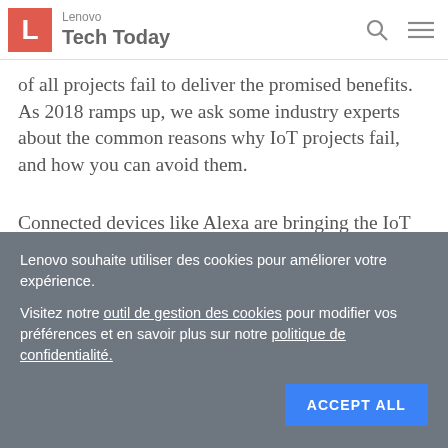Lenovo Tech Today
of all projects fail to deliver the promised benefits. As 2018 ramps up, we ask some industry experts about the common reasons why IoT projects fail, and how you can avoid them.
Connected devices like Alexa are bringing the IoT into the home, where we seem more than happy for some extra help doing the weekly shop or ordering a present for a
Lenovo souhaite utiliser des cookies pour améliorer votre expérience.
Visitez notre outil de gestion des cookies pour modifier vos préférences et en savoir plus sur notre politique de confidentialité.
ACCEPT ALL